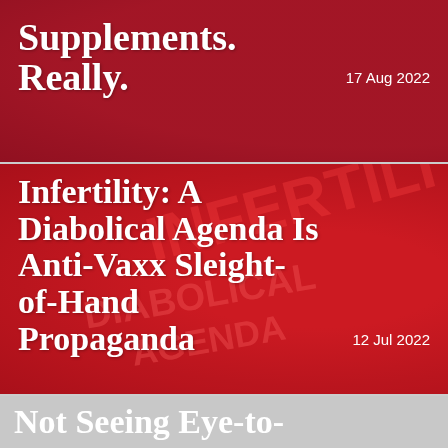[Figure (photo): Red background card with pills/supplements imagery showing article title 'Supplements. Really.' dated 17 Aug 2022]
Supplements. Really.
17 Aug 2022
[Figure (photo): Red background card with 'INFERTILITY DIABOLICAL AGENDA' text visible in background, article titled 'Infertility: A Diabolical Agenda Is Anti-Vaxx Sleight-of-Hand Propaganda' dated 12 Jul 2022]
Infertility: A Diabolical Agenda Is Anti-Vaxx Sleight-of-Hand Propaganda
12 Jul 2022
Not Seeing Eye-to-